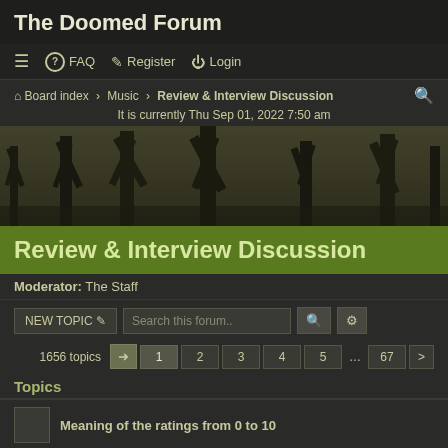The Doomed Forum
≡  ? FAQ  ✎ Register  ⏻ Login
Board index › Music › Review & Interview Discussion
It is currently Thu Sep 01, 2022 7:50 am
[Figure (photo): Dark atmospheric banner image of bare tree branches against a dusky sky]
Review & Interview Discussion
Moderator: The Staff
NEW TOPIC  Search this forum..
1656 topics  1  2  3  4  5  ...  67  >
Topics
Meaning of the ratings from 0 to 10